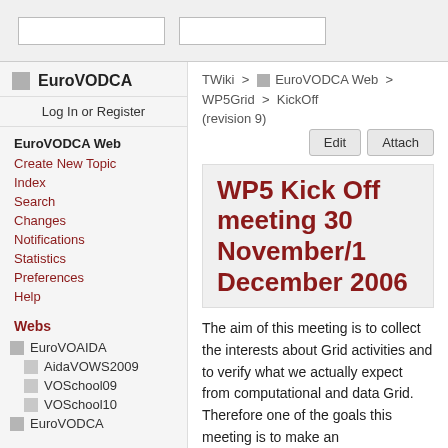[search box 1] [search box 2]
EuroVODCA
Log In or Register
EuroVODCA Web
Create New Topic
Index
Search
Changes
Notifications
Statistics
Preferences
Help
Webs
EuroVOAIDA
AidaVOWS2009
VOSchool09
VOSchool10
EuroVODCA
TWiki > EuroVODCA Web > WP5Grid > KickOff (revision 9)
WP5 Kick Off meeting 30 November/1 December 2006
The aim of this meeting is to collect the interests about Grid activities and to verify what we actually expect from computational and data Grid. Therefore one of the goals this meeting is to make an